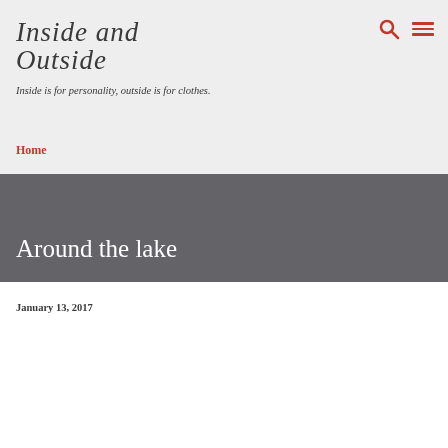INSIDE AND OUTSIDE
Inside is for personality, outside is for clothes.
Home
Around the lake
January 13, 2017